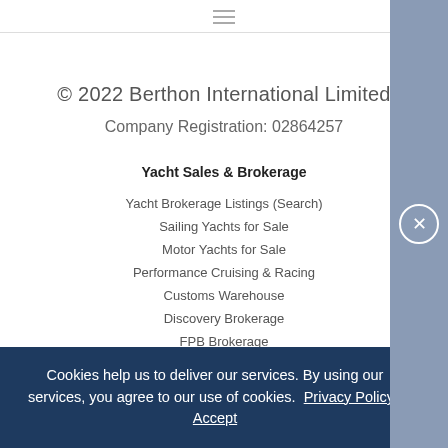☰ (hamburger menu icon)
© 2022 Berthon International Limited
Company Registration: 02864257
Yacht Sales & Brokerage
Yacht Brokerage Listings (Search)
Sailing Yachts for Sale
Motor Yachts for Sale
Performance Cruising & Racing
Customs Warehouse
Discovery Brokerage
FPB Brokerage
Windy Boats Brokerage
Cookies help us to deliver our services. By using our services, you agree to our use of cookies. Privacy Policy Accept